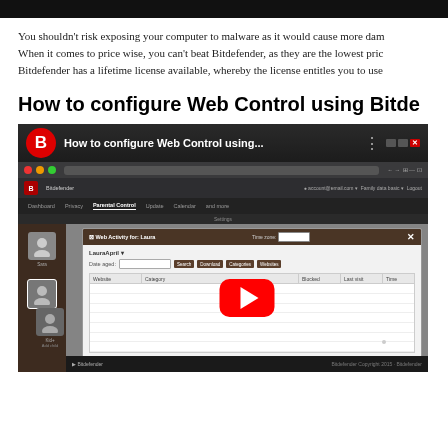[Figure (screenshot): Dark header bar at top of page]
You shouldn't risk exposing your computer to malware as it would cause more dam... When it comes to price wise, you can't beat Bitdefender, as they are the lowest pric... Bitdefender has a lifetime license available, whereby the license entitles you to use...
How to configure Web Control using Bitde...
[Figure (screenshot): YouTube video thumbnail showing Bitdefender logo and title 'How to configure Web Control using...' with a YouTube play button overlay on a Bitdefender software interface screenshot]